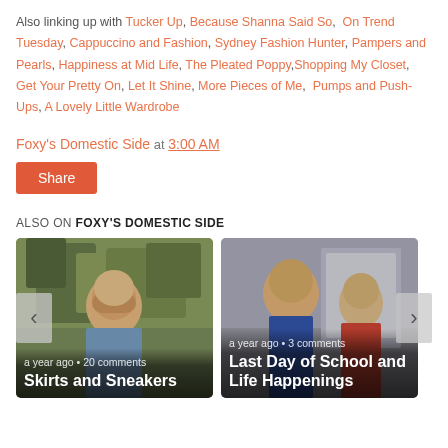Also linking up with Tucker Up, Because Shanna Said So, On Trend Tuesday, Cappuccino and Fashion, Sydney Fashion Hunter, Pampers and Pearls, Happiness at Mid Life, The Pleated Poppy, Shopping My Closet, Get Your Pretty On, Let It Shine, More Pieces of Me, Pumps and Push-Ups, A Lovely Little Wardrobe
Foxy's Domestic Side at 3:00 AM
Share
ALSO ON FOXY'S DOMESTIC SIDE
[Figure (photo): Blog post card: woman smiling outdoors in front of green foliage, caption 'a year ago • 20 comments', title 'Skirts and Sneakers']
[Figure (photo): Blog post card: two children smiling, caption 'a year ago • 3 comments', title 'Last Day of School and Life Happenings']